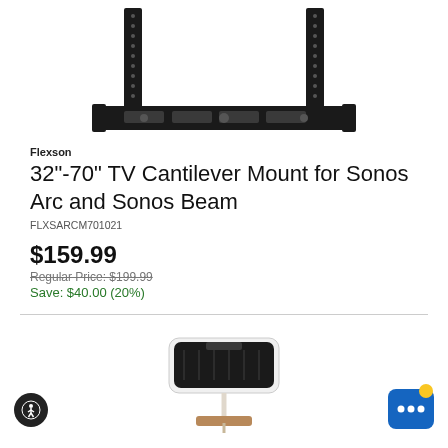[Figure (photo): TV cantilever wall mount bracket, black metal, shown mounted with two vertical rails and a horizontal bar]
Flexson
32"-70" TV Cantilever Mount for Sonos Arc and Sonos Beam
FLXSARCM701021
$159.99
Regular Price: $199.99
Save: $40.00 (20%)
[Figure (photo): Sonos speaker (white/black) on a stand with wooden base/cable management]